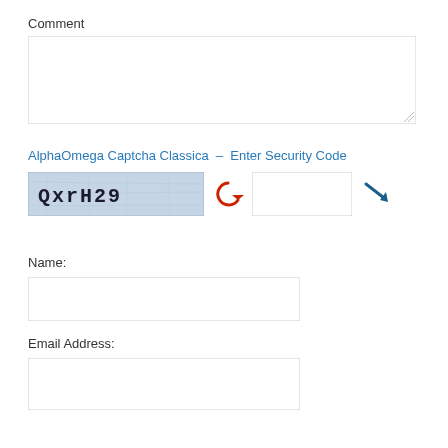Comment
[Figure (screenshot): Comment text area input box (empty, resizable)]
AlphaOmega Captcha Classica – Enter Security Code
[Figure (screenshot): CAPTCHA widget showing 'QxrH29' in a blue-tinted image, a red refresh button, an empty text input, and a blue arrow/submit icon]
Name:
[Figure (screenshot): Name text input box (empty)]
Email Address:
[Figure (screenshot): Email Address text input box (empty)]